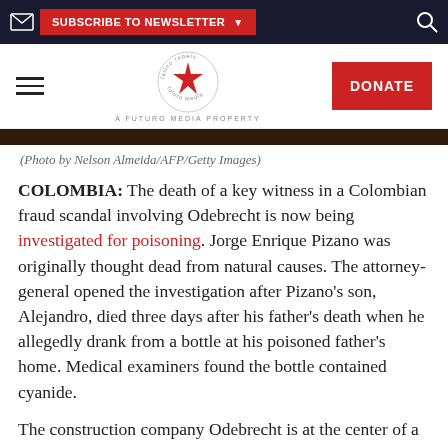SUBSCRIBE TO NEWSLETTER
[Figure (logo): Latino Rebels / A Futuro Media Property logo with red star in circle]
(Photo by Nelson Almeida/AFP/Getty Images)
COLOMBIA: The death of a key witness in a Colombian fraud scandal involving Odebrecht is now being investigated for poisoning. Jorge Enrique Pizano was originally thought dead from natural causes. The attorney-general opened the investigation after Pizano's son, Alejandro, died three days after his father's death when he allegedly drank from a bottle at his poisoned father's home. Medical examiners found the bottle contained cyanide.
The construction company Odebrecht is at the center of a massive corruption scandal spanning Latin America and has admitted to